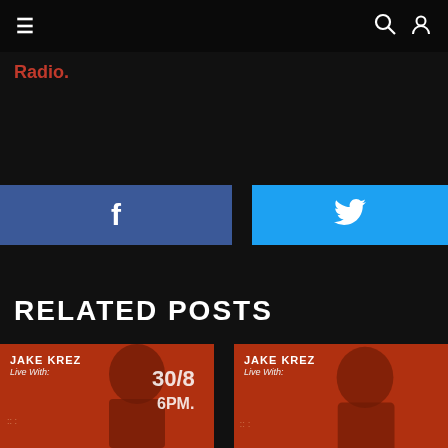≡   🔍  👤
Radio.
[Figure (other): Facebook share button with 'f' icon on blue background]
[Figure (other): Twitter share button with bird icon on cyan/blue background]
RELATED POSTS
[Figure (other): Jake Krez Live With: event poster, orange background with silhouette, date 30/8 6PM]
[Figure (other): Jake Krez Live With: event poster, orange background with silhouette (partial view)]